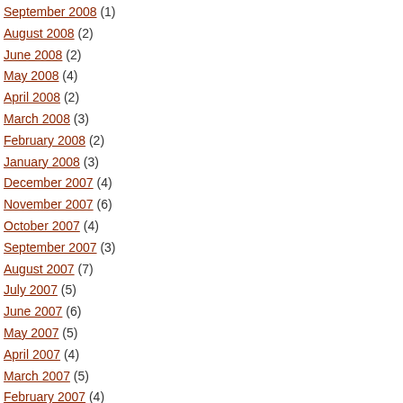September 2008 (1)
August 2008 (2)
June 2008 (2)
May 2008 (4)
April 2008 (2)
March 2008 (3)
February 2008 (2)
January 2008 (3)
December 2007 (4)
November 2007 (6)
October 2007 (4)
September 2007 (3)
August 2007 (7)
July 2007 (5)
June 2007 (6)
May 2007 (5)
April 2007 (4)
March 2007 (5)
February 2007 (4)
January 2007 (3)
Meta
Log in